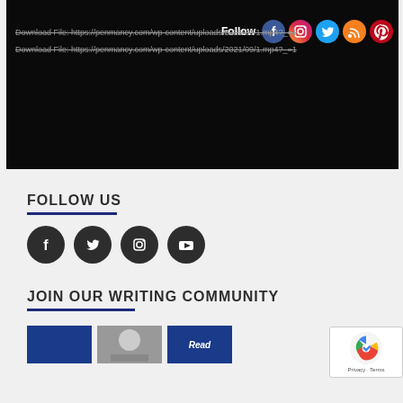[Figure (screenshot): Video player with dark background showing two download file links overlaid on top]
Download File: https://penmancy.com/wp-content/uploads/2021/03/1.mp4?_=1
Download File: https://penmancy.com/wp-content/uploads/2021/09/1.mp4?_=1
FOLLOW US
[Figure (infographic): Social media icons row: Facebook, Twitter, Instagram, YouTube]
JOIN OUR WRITING COMMUNITY
[Figure (infographic): Row of three article thumbnail images with a Read button]